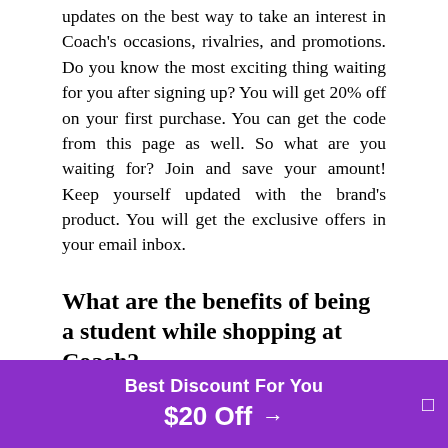updates on the best way to take an interest in Coach's occasions, rivalries, and promotions. Do you know the most exciting thing waiting for you after signing up? You will get 20% off on your first purchase. You can get the code from this page as well. So what are you waiting for? Join and save your amount! Keep yourself updated with the brand's product. You will get the exclusive offers in your email inbox.
What are the benefits of being a student while shopping at Coach?
Gladly! You can use the Coach 10% Student Discount code on the total price of Items. You can unlock a 10% student rebate at Coach with Student Beans. Utilize the Coach student discount at the checkout to appreciate 10% off your request. To get i... k y... e! A... y
[Figure (infographic): Purple promotional banner overlay at the bottom: 'Best Discount For You' and '$20 Off →' with a close button]